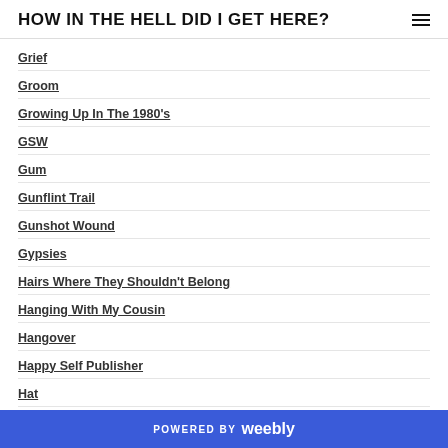HOW IN THE HELL DID I GET HERE?
Grief
Groom
Growing Up In The 1980's
GSW
Gum
Gunflint Trail
Gunshot Wound
Gypsies
Hairs Where They Shouldn't Belong
Hanging With My Cousin
Hangover
Happy Self Publisher
Hat
Haunted
Haunted Bar
POWERED BY weebly